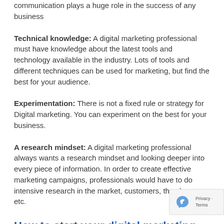communication plays a huge role in the success of any business
Technical knowledge: A digital marketing professional must have knowledge about the latest tools and technology available in the industry. Lots of tools and different techniques can be used for marketing, but find the best for your audience.
Experimentation: There is not a fixed rule or strategy for Digital marketing. You can experiment on the best for your business.
A research mindset: A digital marketing professional always wants a research mindset and looking deeper into every piece of information. In order to create effective marketing campaigns, professionals would have to do intensive research in the market, customers, the changes, etc.
How to start your digital marketing career?
If you think you have any of the above digital marketing skills and have the confidence, then you can start your career with best digital marketing certifications in 2022. If you have experience in related fields like content writing, marketing